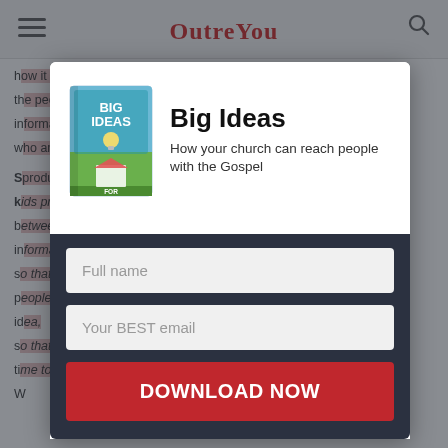OutreachYou (logo header with hamburger menu and search icon)
how it is uniquely suited for well-being the people in our congregation. It includes information on ways to connect with people, who are producing a parallel lives from the kids program that does not ignore the relationships between being information, how to actually care, and more. So that people actually care more about the less than idea, so that everyone commits more time to our Sunday morning.
[Figure (illustration): Book cover: Big Ideas for Small Churches - How your church can reach people with the Gospel. Blue and white illustrated book cover with lightbulb graphic and small church building.]
Big Ideas
How your church can reach people with the Gospel
Full name (input field placeholder)
Your BEST email (input field placeholder)
DOWNLOAD NOW